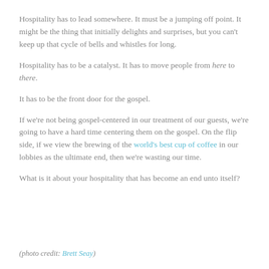Hospitality has to lead somewhere. It must be a jumping off point. It might be the thing that initially delights and surprises, but you can't keep up that cycle of bells and whistles for long.
Hospitality has to be a catalyst. It has to move people from here to there.
It has to be the front door for the gospel.
If we're not being gospel-centered in our treatment of our guests, we're going to have a hard time centering them on the gospel. On the flip side, if we view the brewing of the world's best cup of coffee in our lobbies as the ultimate end, then we're wasting our time.
What is it about your hospitality that has become an end unto itself?
(photo credit: Brett Seay)